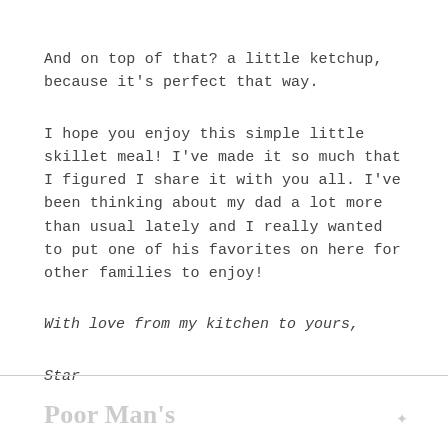And on top of that? a little ketchup, because it’s perfect that way.
I hope you enjoy this simple little skillet meal! I’ve made it so much that I figured I share it with you all. I’ve been thinking about my dad a lot more than usual lately and I really wanted to put one of his favorites on here for other families to enjoy!
With love from my kitchen to yours,
Star
Poor Man’s